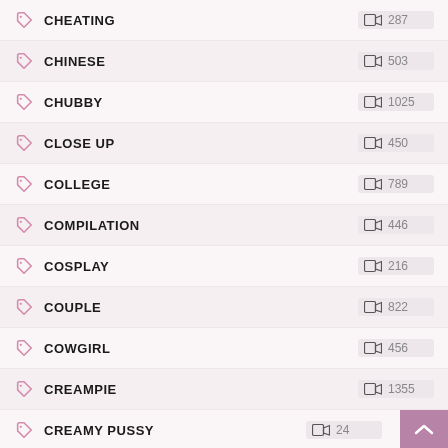CHEATING
CHINESE
CHUBBY
CLOSE UP
COLLEGE
COMPILATION
COSPLAY
COUPLE
COWGIRL
CREAMPIE
CREAMY PUSSY